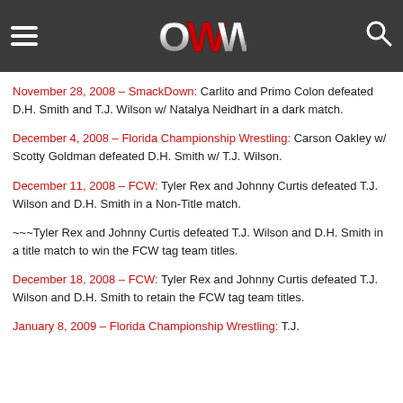OWW header with hamburger menu, logo, and search icon
November 28, 2008 – SmackDown: Carlito and Primo Colon defeated D.H. Smith and T.J. Wilson w/ Natalya Neidhart in a dark match.
December 4, 2008 – Florida Championship Wrestling: Carson Oakley w/ Scotty Goldman defeated D.H. Smith w/ T.J. Wilson.
December 11, 2008 – FCW: Tyler Rex and Johnny Curtis defeated T.J. Wilson and D.H. Smith in a Non-Title match.
~~~Tyler Rex and Johnny Curtis defeated T.J. Wilson and D.H. Smith in a title match to win the FCW tag team titles.
December 18, 2008 – FCW: Tyler Rex and Johnny Curtis defeated T.J. Wilson and D.H. Smith to retain the FCW tag team titles.
January 8, 2009 – Florida Championship Wrestling: T.J.